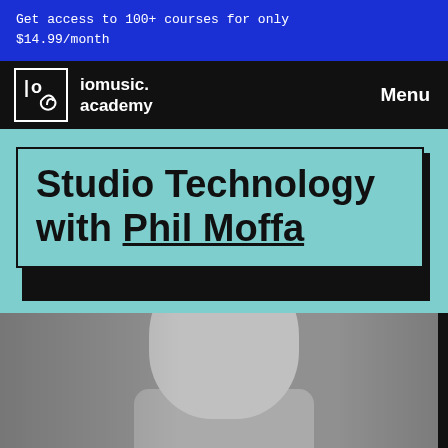Get access to 100+ courses for only $14.99/month
[Figure (logo): iomusic.academy logo with stylized IO symbol in white border box, and text 'iomusic.academy' to the right, with 'Menu' on the far right, all on black background]
Studio Technology with Phil Moffa
[Figure (photo): Black and white headshot photo of Phil Moffa, a man with short dark hair, looking slightly to the side, on a gray background]